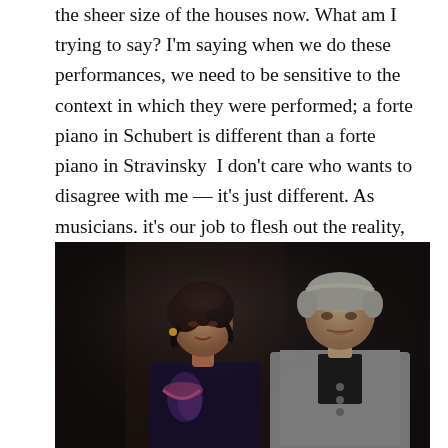the sheer size of the houses now. What am I trying to say? I'm saying when we do these performances, we need to be sensitive to the context in which they were performed; a forte piano in Schubert is different than a forte piano in Stravinsky  I don't care who wants to disagree with me — it's just different. As musicians. it's our job to flesh out the reality, to make it audible, so that the experience is contemporary, regardless of when the piece was written.
[Figure (photo): A photograph of two opera performers on stage in dark theatrical lighting. On the left is a woman with dark curly hair wearing a dark velvet costume with decorative elements. On the right is a man with grey hair wearing a grey coat, looking slightly downward.]